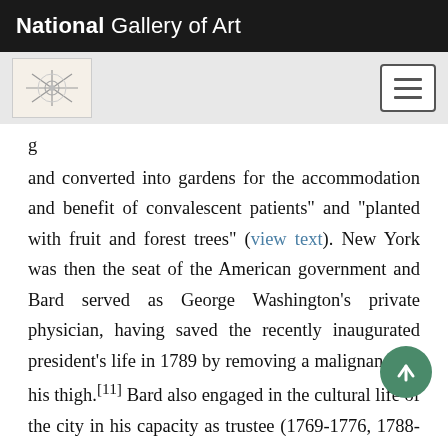National Gallery of Art
and converted into gardens for the accommodation and benefit of convalescent patients" and "planted with fruit and forest trees" (view text). New York was then the seat of the American government and Bard served as George Washington's private physician, having saved the recently inaugurated president's life in 1789 by removing a malignancy in his thigh.[11] Bard also engaged in the cultural life of the city in his capacity as trustee (1769-1776, 1788-1793, 1796) and secretary (1769-1776, 1788-1789) of the New York Society Library.[12]
At his house on Broad Street in New York City, Bard